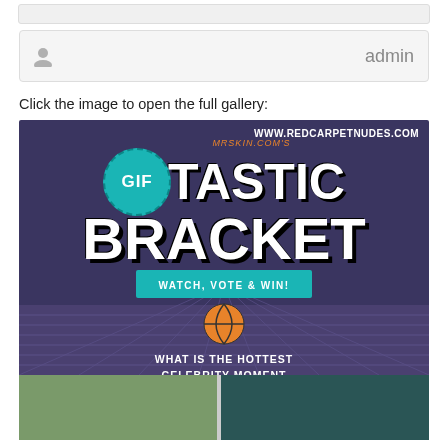admin
Click the image to open the full gallery:
[Figure (illustration): Promotional banner for MrSkin.com GIF-tastic Bracket contest. Dark purple/navy background with basketball court floor. Text reads: www.redcarpetnudes.com, MRSKIN.COM'S GIF TASTIC BRACKET, WATCH, VOTE & WIN!, WHAT IS THE HOTTEST CELEBRITY MOMENT OF ALL TIME?, VOTE NOW >>. Features teal circle with GIF text, orange basketball, teal ribbon banner, and orange vote button.]